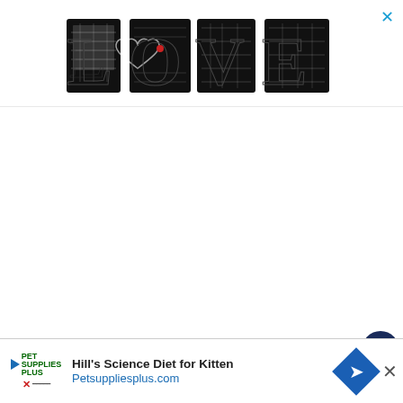[Figure (logo): LOVE text logo with illustrated/patterned letters in black and white]
[Figure (other): Dark navy circle button with white heart icon (save/favorite button)]
[Figure (other): Light grey circle button with share/network icon]
[Figure (other): What's Next promo box with circular food image and text: WHAT'S NEXT → 35 Delicious Cleansing...]
Moms have a lot on their plates. E whether she is a working mom, a stay-at-
[Figure (other): Bottom advertisement banner: Hill's Science Diet for Kitten, Petsuppliesplus.com with Pet Supplies Plus logo, navigation diamond icon, and close X]
h as